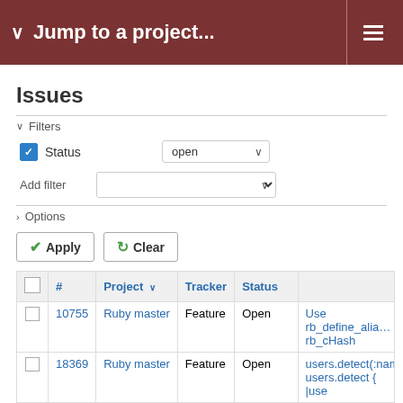Jump to a project...
Issues
Filters
Status   open
Add filter
Options
Apply   Clear
|  | # | Project ▾ | Tracker | Status |  |
| --- | --- | --- | --- | --- | --- |
|  | 10755 | Ruby master | Feature | Open | Use rb_define_alia... rb_cHash |
|  | 18369 | Ruby master | Feature | Open | users.detect(:nam... users.detect { |use |
|  | 12928 | Ruby master | Feature | Open | Use socket conec... open_timeout |
|  | 13047 | Ruby master | Feature | Assigned | Use String literal i... |